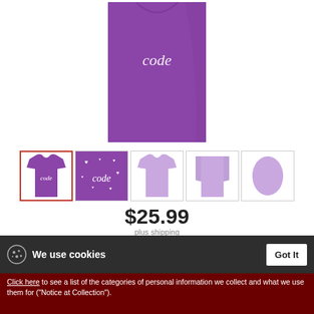[Figure (photo): Large product image of a purple t-shirt with 'code' text in white script on the front, shown on a white background]
[Figure (photo): Thumbnail 1 (selected, red border): purple t-shirt front view with 'code' script]
[Figure (photo): Thumbnail 2: purple design close-up showing 'code' with hearts]
[Figure (photo): Thumbnail 3: light purple t-shirt front view]
[Figure (photo): Thumbnail 4: light purple t-shirt back/side view]
[Figure (photo): Thumbnail 5: light purple t-shirt sleeve view]
$25.99
plus shipping
We use cookies
Got It
Click here to see a list of the categories of personal information we collect and what we use them for ("Notice at Collection").
Privacy Policy
Do Not Sell My Personal Information
By using this website, I agree to the Terms and Conditions